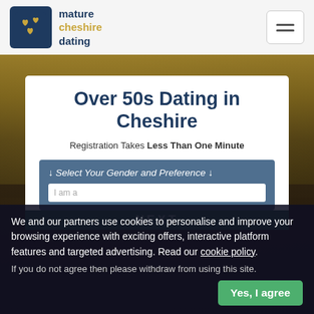[Figure (logo): Mature Cheshire Dating logo: dark navy square with gold heart icons, next to text 'mature cheshire dating']
Over 50s Dating in Cheshire
Registration Takes Less Than One Minute
↓ Select Your Gender and Preference ↓
We and our partners use cookies to personalise and improve your browsing experience with exciting offers, interactive platform features and targeted advertising. Read our cookie policy.
If you do not agree then please withdraw from using this site.